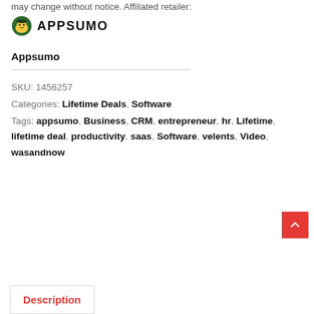may change without notice. Affiliated retailer:
[Figure (logo): AppSumo logo with ninja icon and bold uppercase text APPSUMO]
Appsumo
SKU: 1456257
Categories: Lifetime Deals, Software
Tags: appsumo, Business, CRM, entrepreneur, hr, Lifetime, lifetime deal, productivity, saas, Software, velents, Video, wasandnow
Description